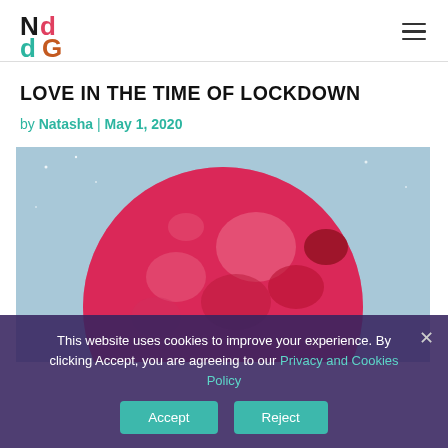NdG logo and navigation
LOVE IN THE TIME OF LOCKDOWN
by Natasha | May 1, 2020
[Figure (photo): A vivid red/pink full moon against a light blue sky background, artistic rendering]
This website uses cookies to improve your experience. By clicking Accept, you are agreeing to our Privacy and Cookies Policy